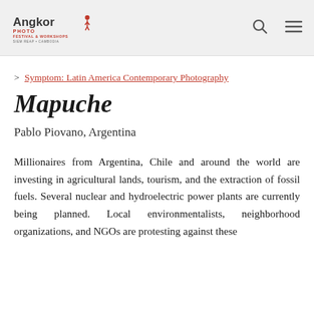Angkor Photo Festival & Workshops — Siem Reap, Cambodia
> Symptom: Latin America Contemporary Photography
Mapuche
Pablo Piovano, Argentina
Millionaires from Argentina, Chile and around the world are investing in agricultural lands, tourism, and the extraction of fossil fuels. Several nuclear and hydroelectric power plants are currently being planned. Local environmentalists, neighborhood organizations, and NGOs are protesting against these